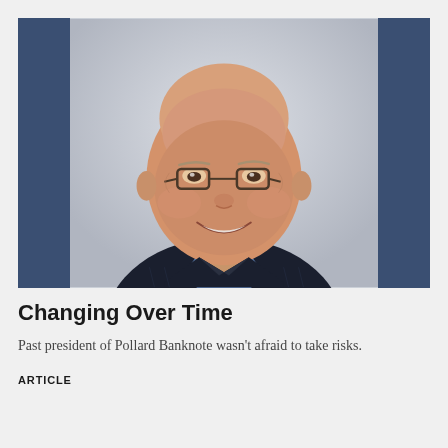[Figure (photo): Professional headshot of an elderly bald man wearing glasses, a dark pinstripe suit jacket and blue shirt, smiling, against a light gray background. The photo is framed by navy blue panels on the left and right sides.]
Changing Over Time
Past president of Pollard Banknote wasn't afraid to take risks.
ARTICLE